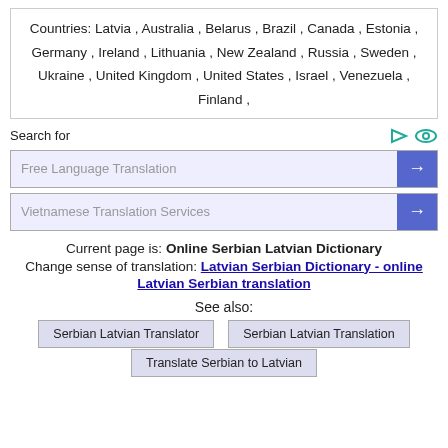Countries: Latvia , Australia , Belarus , Brazil , Canada , Estonia , Germany , Ireland , Lithuania , New Zealand , Russia , Sweden , Ukraine , United Kingdom , United States , Israel , Venezuela , Finland ,
Search for
Free Language Translation
Vietnamese Translation Services
Current page is: Online Serbian Latvian Dictionary
Change sense of translation: Latvian Serbian Dictionary - online Latvian Serbian translation
See also:
Serbian Latvian Translator
Serbian Latvian Translation
Translate Serbian to Latvian